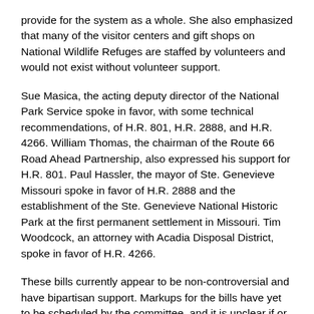provide for the system as a whole. She also emphasized that many of the visitor centers and gift shops on National Wildlife Refuges are staffed by volunteers and would not exist without volunteer support.
Sue Masica, the acting deputy director of the National Park Service spoke in favor, with some technical recommendations, of H.R. 801, H.R. 2888, and H.R. 4266. William Thomas, the chairman of the Route 66 Road Ahead Partnership, also expressed his support for H.R. 801. Paul Hassler, the mayor of Ste. Genevieve Missouri spoke in favor of H.R. 2888 and the establishment of the Ste. Genevieve National Historic Park at the first permanent settlement in Missouri. Tim Woodcock, an attorney with Acadia Disposal District, spoke in favor of H.R. 4266.
These bills currently appear to be non-controversial and have bipartisan support. Markups for the bills have yet to be scheduled by the committee, and it is unclear if or when they will be voted on by the full House.